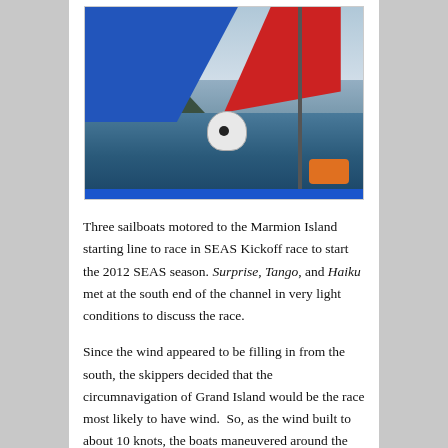[Figure (photo): View from a sailboat deck showing a blue and red spinnaker sail, a mast with rigging, a helmeted crew member, water and mountains in the background, and a blue hull rail in the foreground.]
Three sailboats motored to the Marmion Island starting line to race in SEAS Kickoff race to start the 2012 SEAS season. Surprise, Tango, and Haiku met at the south end of the channel in very light conditions to discuss the race.
Since the wind appeared to be filling in from the south, the skippers decided that the circumnavigation of Grand Island would be the race most likely to have wind.  So, as the wind built to about 10 knots, the boats maneuvered around the pre-start, and began the race at